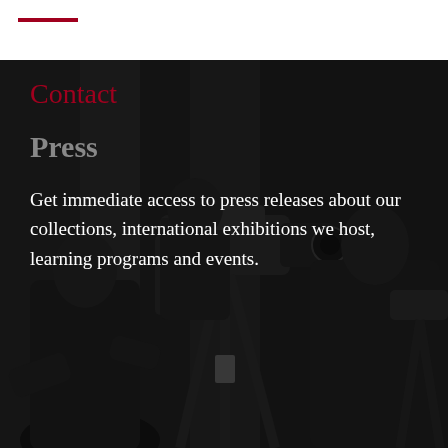[Figure (photo): Dark background photo of press cameramen operating professional video cameras on tripods in a dimly lit event space, with a dark overlay giving a moody, cinematic appearance.]
Contact
Press
Get immediate access to press releases about our collections, international exhibitions we host, learning programs and events.